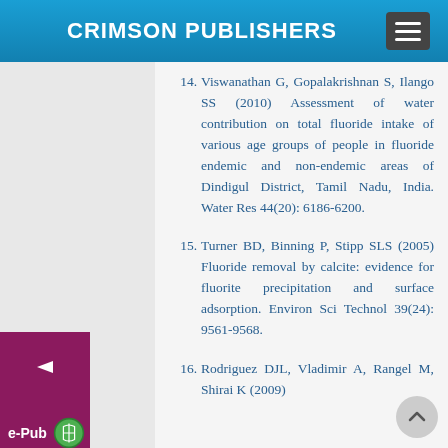CRIMSON PUBLISHERS
14. Viswanathan G, Gopalakrishnan S, Ilango SS (2010) Assessment of water contribution on total fluoride intake of various age groups of people in fluoride endemic and non-endemic areas of Dindigul District, Tamil Nadu, India. Water Res 44(20): 6186-6200.
15. Turner BD, Binning P, Stipp SLS (2005) Fluoride removal by calcite: evidence for fluorite precipitation and surface adsorption. Environ Sci Technol 39(24): 9561-9568.
16. Rodriguez DJL, Vladimir A, Rangel M, Shirai K (2009)